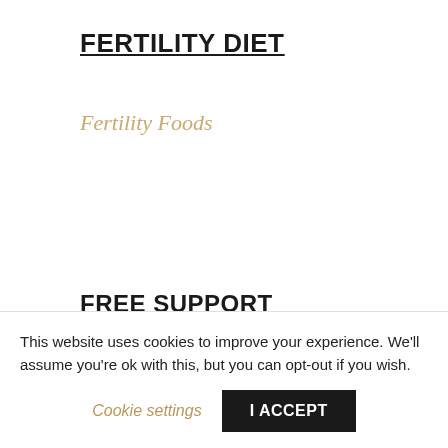FERTILITY DIET
Fertility Foods
FREE SUPPORT
The Ultimate Fertility Guide
Free Fertility Chat
This website uses cookies to improve your experience. We'll assume you're ok with this, but you can opt-out if you wish.
Cookie settings
I ACCEPT